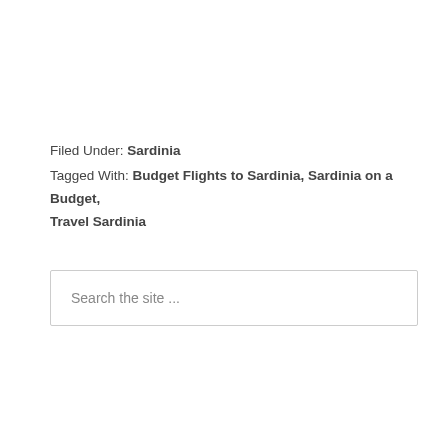Filed Under: Sardinia
Tagged With: Budget Flights to Sardinia, Sardinia on a Budget, Travel Sardinia
Search the site ...